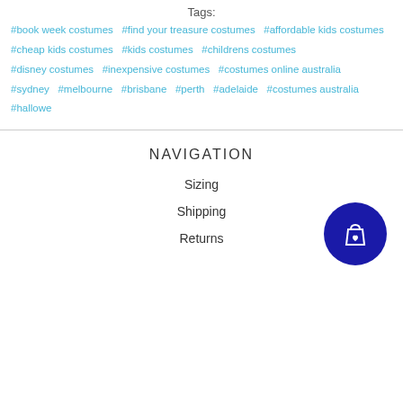Tags:
#book week costumes  #find your treasure costumes  #affordable kids costumes  #cheap kids costumes  #kids costumes  #childrens costumes  #disney costumes  #inexpensive costumes  #costumes online australia  #sydney  #melbourne  #brisbane  #perth  #adelaide  #costumes australia  #hallowe
NAVIGATION
Sizing
Shipping
Returns